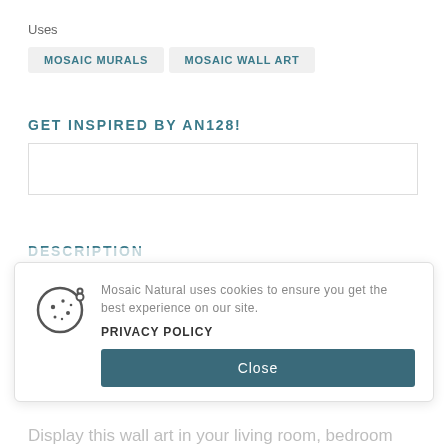Uses
MOSAIC MURALS
MOSAIC WALL ART
GET INSPIRED BY AN128!
[Figure (other): Empty image/slideshow box for AN128 inspiration gallery]
DESCRIPTION
Bring a piece of the dramatic and exciting wild into your home or business. This handcrafted mosaic design captures predators leap into the air with the... A golden... come... give the face a relevant and energ...
Display this wall art in your living room, bedroom
Mosaic Natural uses cookies to ensure you get the best experience on our site.
PRIVACY POLICY
Close